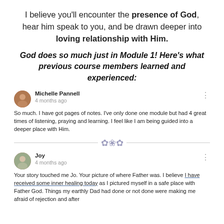I believe you'll encounter the presence of God, hear him speak to you, and be drawn deeper into loving relationship with Him.
God does so much just in Module 1! Here's what previous course members learned and experienced:
Michelle Pannell
4 months ago

So much. I have got pages of notes. I've only done one module but had 4 great times of listening, praying and learning. I feel like I am being guided into a deeper place with Him.
Joy
4 months ago

Your story touched me Jo. Your picture of where Father was. I believe I have received some inner healing today as I pictured myself in a safe place with Father God. Things my earthly Dad had done or not done were making me afraid of rejection and after